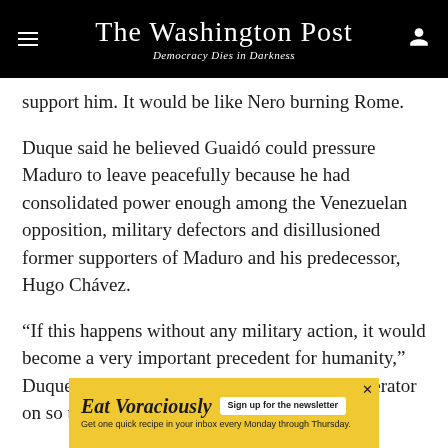The Washington Post — Democracy Dies in Darkness
support him. It would be like Nero burning Rome.
Duque said he believed Guaidó could pressure Maduro to leave peacefully because he had consolidated power enough among the Venezuelan opposition, military defectors and disillusioned former supporters of Maduro and his predecessor, Hugo Chávez.
“If this happens without any military action, it would become a very important precedent for humanity,” Duque said. “The world should keep the accelerator on so that this happens sooner than later.”
[Figure (infographic): Yellow advertisement banner for 'Eat Voraciously' newsletter with button 'Sign up for the newsletter' and text 'Get one quick recipe in your inbox every Monday through Thursday.']